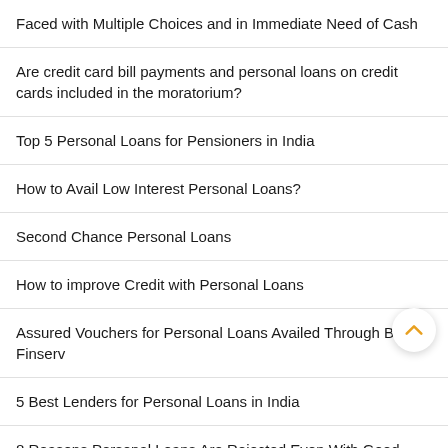Faced with Multiple Choices and in Immediate Need of Cash
Are credit card bill payments and personal loans on credit cards included in the moratorium?
Top 5 Personal Loans for Pensioners in India
How to Avail Low Interest Personal Loans?
Second Chance Personal Loans
How to improve Credit with Personal Loans
Assured Vouchers for Personal Loans Availed Through Bajaj Finserv
5 Best Lenders for Personal Loans in India
8 Reasons Personal Loans Are Rejected Even With Good Credit Score